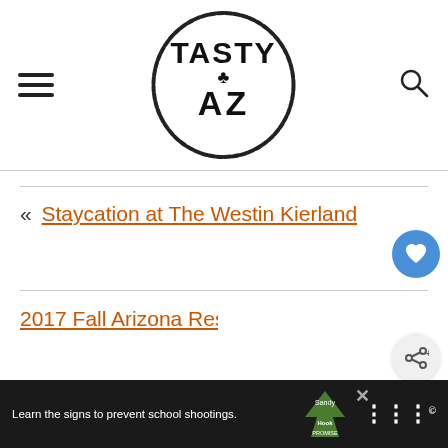TASTY AZ — site logo header with hamburger menu and search icon
[Figure (logo): Tasty AZ circular logo with cactus icon, hand-drawn style text 'TASTY AZ' inside a rough circle]
« Staycation at The Westin Kierland
2017 Fall Arizona Restaurant...
[Figure (infographic): What's Next widget showing thumbnail image and text 'WHAT'S NEXT → Pumpkin Nights at...']
[Figure (screenshot): Advertisement banner: 'Learn the signs to prevent school shootings.' with Sandy Hook Promise logo and WW logo]